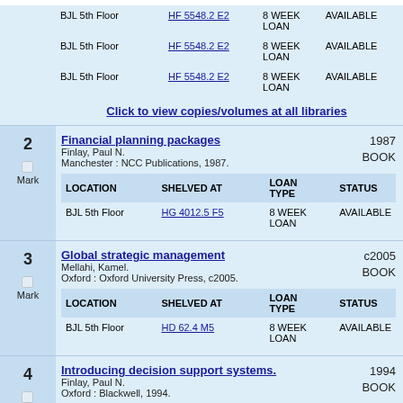| LOCATION | SHELVED AT | LOAN TYPE | STATUS |
| --- | --- | --- | --- |
| BJL 5th Floor | HF 5548.2 E2 | 8 WEEK LOAN | AVAILABLE |
| BJL 5th Floor | HF 5548.2 E2 | 8 WEEK LOAN | AVAILABLE |
| BJL 5th Floor | HF 5548.2 E2 | 8 WEEK LOAN | AVAILABLE |
Click to view copies/volumes at all libraries
2
Mark
Financial planning packages
Finlay, Paul N.
Manchester : NCC Publications, 1987.
1987
BOOK
| LOCATION | SHELVED AT | LOAN TYPE | STATUS |
| --- | --- | --- | --- |
| BJL 5th Floor | HG 4012.5 F5 | 8 WEEK LOAN | AVAILABLE |
3
Mark
Global strategic management
Mellahi, Kamel.
Oxford : Oxford University Press, c2005.
c2005
BOOK
| LOCATION | SHELVED AT | LOAN TYPE | STATUS |
| --- | --- | --- | --- |
| BJL 5th Floor | HD 62.4 M5 | 8 WEEK LOAN | AVAILABLE |
4
Mark
Introducing decision support systems.
Finlay, Paul N.
Oxford : Blackwell, 1994.
1994
BOOK
| LOCATION | SHELVED AT | LOAN TYPE | STATUS |
| --- | --- | --- | --- |